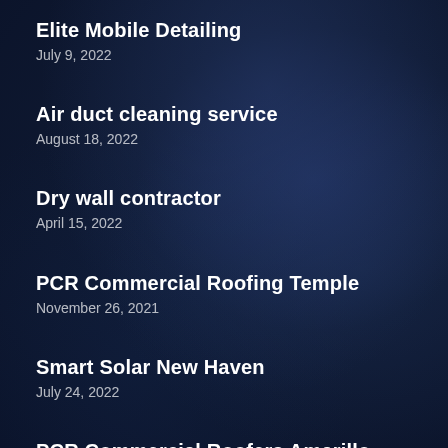Elite Mobile Detailing
July 9, 2022
Air duct cleaning service
August 18, 2022
Dry wall contractor
April 15, 2022
PCR Commercial Roofing Temple
November 26, 2021
Smart Solar New Haven
July 24, 2022
PCR Commercial Roofers Amarillo